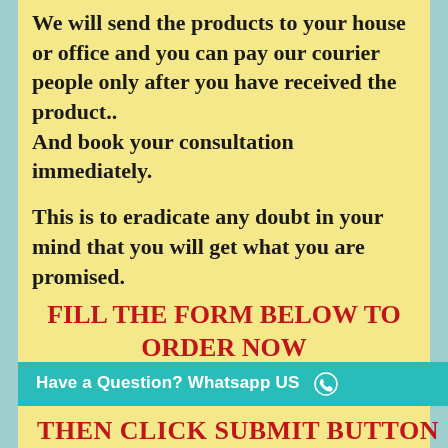We will send the products to your house or office and you can pay our courier people only after you have received the product.. And book your consultation immediately.
This is to eradicate any doubt in your mind that you will get what you are promised.
FILL THE FORM BELOW TO ORDER NOW
Have a Question? Whatsapp US
THEN CLICK SUBMIT BUTTON